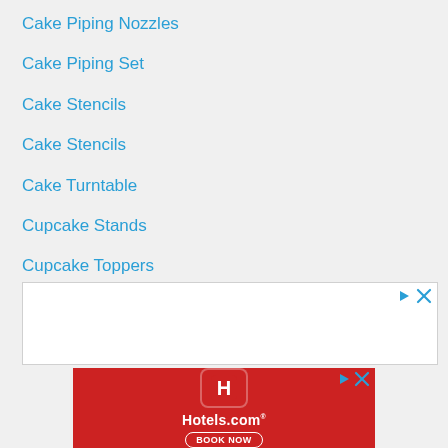Cake Piping Nozzles
Cake Piping Set
Cake Stencils
Cake Stencils
Cake Turntable
Cupcake Stands
Cupcake Toppers
Edible Luster Dust
[Figure (other): Advertisement banner - white background with ad control icons (play and close buttons)]
[Figure (other): Hotels.com advertisement banner with red background, Hotels.com logo, and BOOK NOW button]